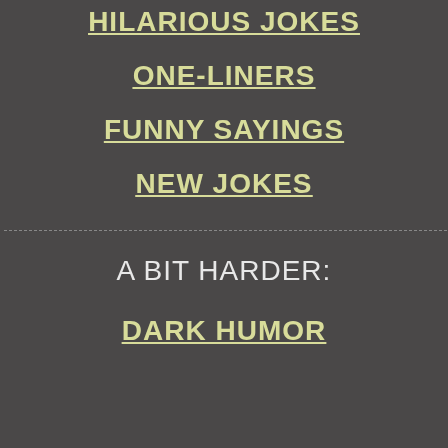HILARIOUS JOKES
ONE-LINERS
FUNNY SAYINGS
NEW JOKES
A BIT HARDER:
DARK HUMOR